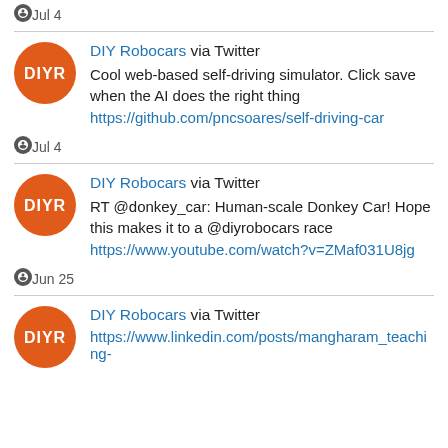Jul 4
[Figure (logo): DIY Robocars orange circle logo with DIYR text]
DIY Robocars via Twitter
Cool web-based self-driving simulator. Click save when the AI does the right thing https://github.com/pncsoares/self-driving-car
Jul 4
[Figure (logo): DIY Robocars orange circle logo with DIYR text]
DIY Robocars via Twitter
RT @donkey_car: Human-scale Donkey Car! Hope this makes it to a @diyrobocars race https://www.youtube.com/watch?v=ZMaf031U8jg
Jun 25
[Figure (logo): DIY Robocars orange circle logo with DIYR text]
DIY Robocars via Twitter
https://www.linkedin.com/posts/mangharam_teaching-